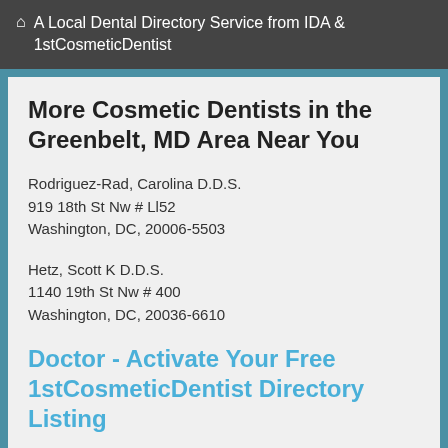🏠 A Local Dental Directory Service from IDA & 1stCosmeticDentist
More Cosmetic Dentists in the Greenbelt, MD Area Near You
Rodriguez-Rad, Carolina D.D.S.
919 18th St Nw # Ll52
Washington, DC, 20006-5503
Hetz, Scott K D.D.S.
1140 19th St Nw # 400
Washington, DC, 20036-6610
Doctor - Activate Your Free 1stCosmeticDentist Directory Listing
Embassy Row Dental
2111 Phelps Pl NW
Washington, DC, 20008-4036
(202) 265-0525